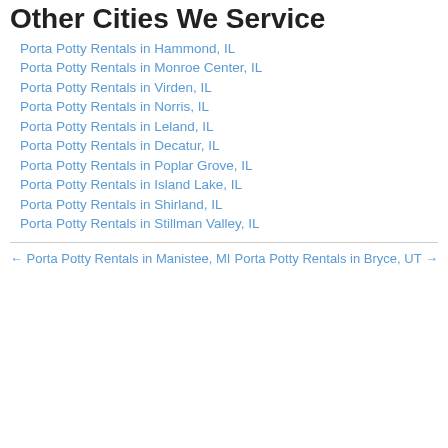Other Cities We Service
Porta Potty Rentals in Hammond, IL
Porta Potty Rentals in Monroe Center, IL
Porta Potty Rentals in Virden, IL
Porta Potty Rentals in Norris, IL
Porta Potty Rentals in Leland, IL
Porta Potty Rentals in Decatur, IL
Porta Potty Rentals in Poplar Grove, IL
Porta Potty Rentals in Island Lake, IL
Porta Potty Rentals in Shirland, IL
Porta Potty Rentals in Stillman Valley, IL
← Porta Potty Rentals in Manistee, MI
Porta Potty Rentals in Bryce, UT →